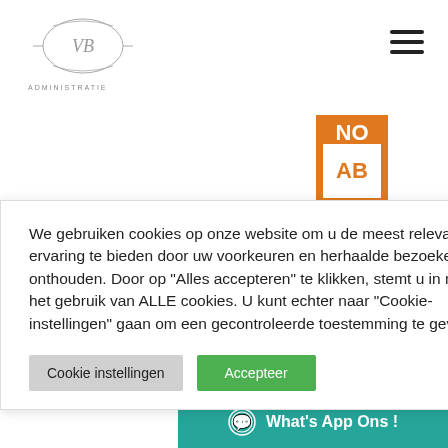[Figure (logo): VB Administratie circular logo with 'VB' monogram and decorative elements, text 'ADMINISTRATIE' below]
[Figure (other): Hamburger menu icon (three horizontal lines) in top right corner]
[Figure (logo): NOAB gecertificeerd badge - orange rectangle with 'NO' on top and 'AB' below on white background, 'GECERTIFICEERD' text at bottom]
ctors.
We gebruiken cookies op onze website om u de meest relevante ervaring te bieden door uw voorkeuren en herhaalde bezoeken te onthouden. Door op "Alles accepteren" te klikken, stemt u in met het gebruik van ALLE cookies. U kunt echter naar "Cookie-instellingen" gaan om een gecontroleerde toestemming te geven.
Cookie instellingen
Accepteer
What's App Ons !